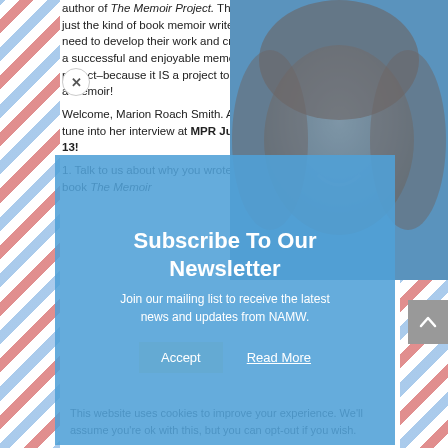author of The Memoir Project. This is just the kind of book memoir writers need to develop their work and create a successful and enjoyable memoir project–because it IS a project to write a memoir!
Welcome, Marion Roach Smith. And tune into her interview at MPR July 13!
1. Talk to us about why you wrote your book The Memoir
[Figure (photo): Smiling woman with red/auburn hair, blue tinted overlay]
Subscribe To Our Newsletter
Join our mailing list to receive the latest news and updates from NAMW.
This website uses cookies to improve your experience. We'll assume you're ok with this, but you can opt-out if you wish.